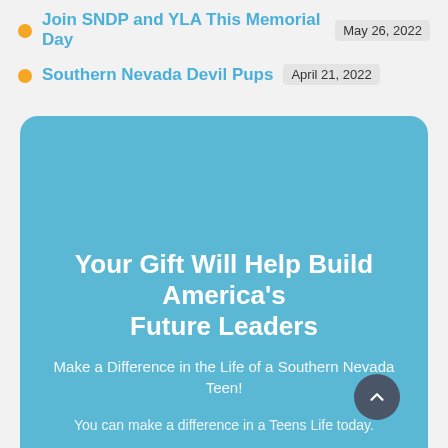Join SNDP and YLA This Memorial Day  May 26, 2022
Southern Nevada Devil Pups  April 21, 2022
Your Gift Will Help Build America's Future Leaders
Make a Difference in the Life of a Southern Nevada Teen!
You can make a difference in a Teens Life today.